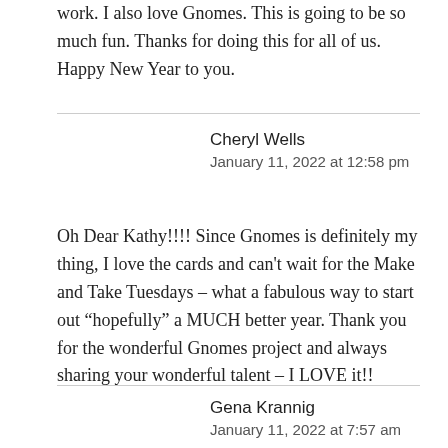work. I also love Gnomes. This is going to be so much fun. Thanks for doing this for all of us. Happy New Year to you.
Cheryl Wells
January 11, 2022 at 12:58 pm
Oh Dear Kathy!!!! Since Gnomes is definitely my thing, I love the cards and can't wait for the Make and Take Tuesdays – what a fabulous way to start out “hopefully” a MUCH better year. Thank you for the wonderful Gnomes project and always sharing your wonderful talent – I LOVE it!!
Gena Krannig
January 11, 2022 at 7:57 am